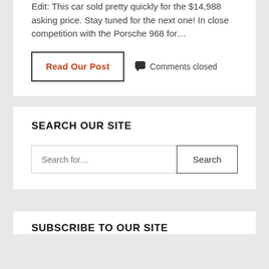Edit: This car sold pretty quickly for the $14,988 asking price. Stay tuned for the next one! In close competition with the Porsche 968 for…
Read Our Post  💬Comments closed
SEARCH OUR SITE
Search for...  Search
SUBSCRIBE TO OUR SITE